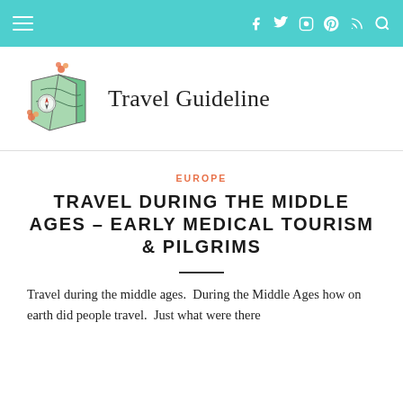Travel Guideline – navigation bar with hamburger menu and social icons
[Figure (logo): Travel Guideline website logo: illustrated folded map with compass rose and orange flowers, next to text 'Travel Guideline']
EUROPE
TRAVEL DURING THE MIDDLE AGES – EARLY MEDICAL TOURISM & PILGRIMS
Travel during the middle ages.  During the Middle Ages how on earth did people travel.  Just what were there